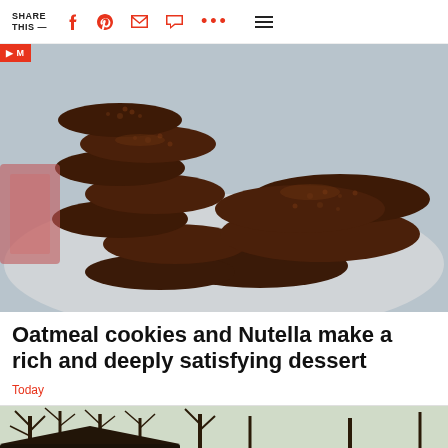SHARE THIS —
[Figure (photo): Plate of chocolate oatmeal Nutella no-bake cookies stacked and scattered on a light grey plate against a light grey background]
Oatmeal cookies and Nutella make a rich and deeply satisfying dessert
Today
[Figure (photo): Partial view of outdoor scene with bare trees and a dark rooftop structure]